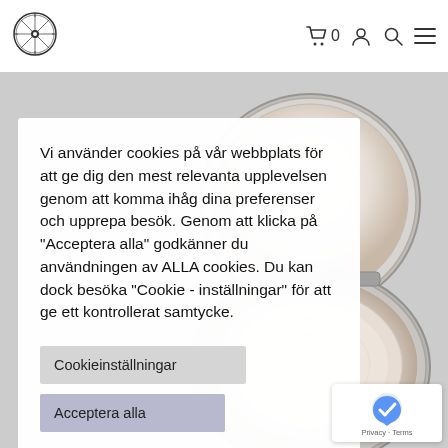[Figure (logo): Circular logo emblem in black and white]
[Figure (illustration): Navigation icons: shopping cart with 0, user account, search, and hamburger menu]
[Figure (photo): Cosmetic compact powder case, silver/metallic, partially open, on light background]
Vi använder cookies på vår webbplats för att ge dig den mest relevanta upplevelsen genom att komma ihåg dina preferenser och upprepa besök. Genom att klicka på "Acceptera alla" godkänner du användningen av ALLA cookies. Du kan dock besöka "Cookie - inställningar" för att ge ett kontrollerat samtycke.
Cookieinställningar
Acceptera alla
[Figure (logo): Google reCAPTCHA badge with Privacy and Terms links]